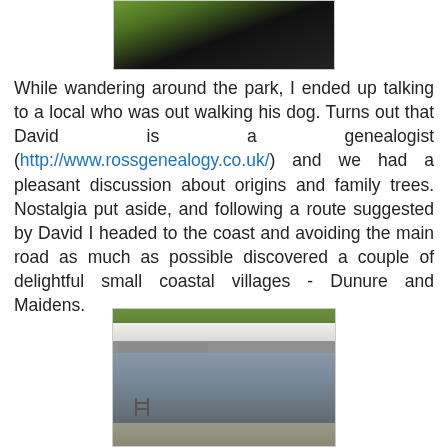[Figure (photo): Partial view of a park landscape with green hillside and dark shadowed ground, cropped at top of page]
While wandering around the park, I ended up talking to a local who was out walking his dog. Turns out that David is a genealogist (http://www.rossgenealogy.co.uk/) and we had a pleasant discussion about origins and family trees. Nostalgia put aside, and following a route suggested by David I headed to the coast and avoiding the main road as much as possible discovered a couple of delightful small coastal villages - Dunure and Maidens.
[Figure (photo): A small harbour with boats moored, white-painted buildings along a quayside in the background, and a flat calm harbour pool or tidal swimming area in the foreground with ladder access, surrounded by concrete walls]